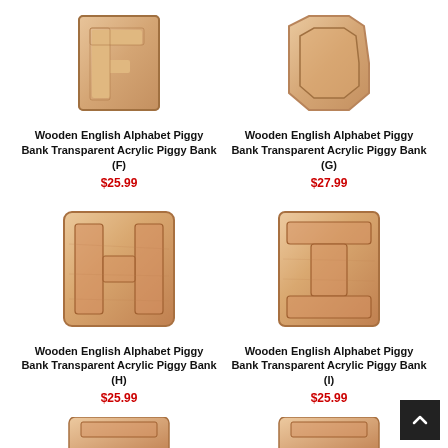[Figure (photo): Wooden letter F piggy bank product image]
Wooden English Alphabet Piggy Bank Transparent Acrylic Piggy Bank (F)
$25.99
[Figure (photo): Wooden letter G piggy bank product image]
Wooden English Alphabet Piggy Bank Transparent Acrylic Piggy Bank (G)
$27.99
[Figure (photo): Wooden letter H piggy bank product image]
Wooden English Alphabet Piggy Bank Transparent Acrylic Piggy Bank (H)
$25.99
[Figure (photo): Wooden letter I piggy bank product image]
Wooden English Alphabet Piggy Bank Transparent Acrylic Piggy Bank (I)
$25.99
[Figure (photo): Wooden letter piggy bank product image (partial, bottom of page)]
[Figure (photo): Wooden letter piggy bank product image (partial, bottom of page)]